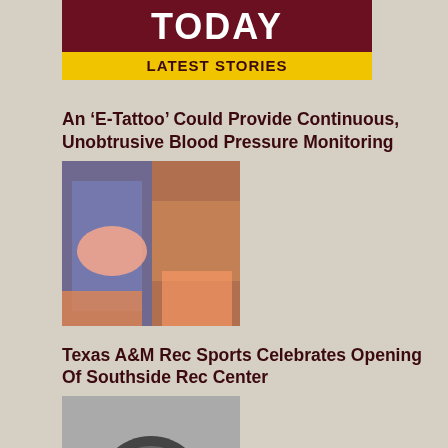[Figure (logo): Texas A&M Today header logo with dark red background saying TODAY and yellow banner saying LATEST STORIES]
An 'E-Tattoo' Could Provide Continuous, Unobtrusive Blood Pressure Monitoring
[Figure (photo): Close-up photo of gloved hands working on skin with electronic tattoo device, with colorful materials visible]
Texas A&M Rec Sports Celebrates Opening Of Southside Rec Center
[Figure (photo): Weight plate with Texas A&M logo on gym floor at the Southside Rec Center]
Going The Distance
[Figure (photo): Runners at a finish line with a blue tent and yellow finish banner visible, wearing colorful athletic gear]